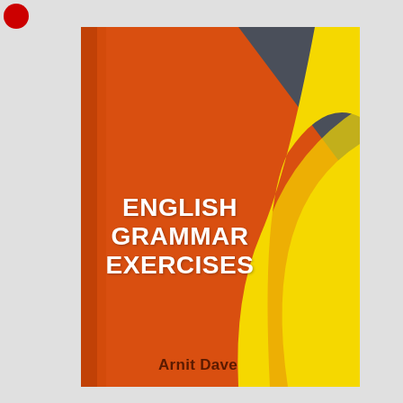[Figure (illustration): Book cover of 'English Grammar Exercises' by Arnit Dave. The cover features a predominantly orange-red background with abstract curved shapes in yellow and dark gray/charcoal in the upper right corner. The book title is displayed in large bold white text. The author's name appears at the bottom.]
ENGLISH GRAMMAR EXERCISES
Arnit Dave